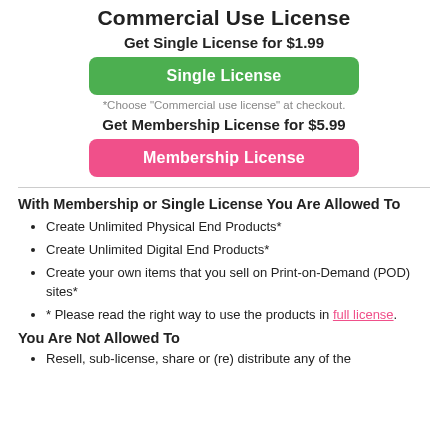Commercial Use License
Get Single License for $1.99
Single License
*Choose "Commercial use license" at checkout.
Get Membership License for $5.99
Membership License
With Membership or Single License You Are Allowed To
Create Unlimited Physical End Products*
Create Unlimited Digital End Products*
Create your own items that you sell on Print-on-Demand (POD) sites*
* Please read the right way to use the products in full license.
You Are Not Allowed To
Resell, sub-license, share or (re) distribute any of the